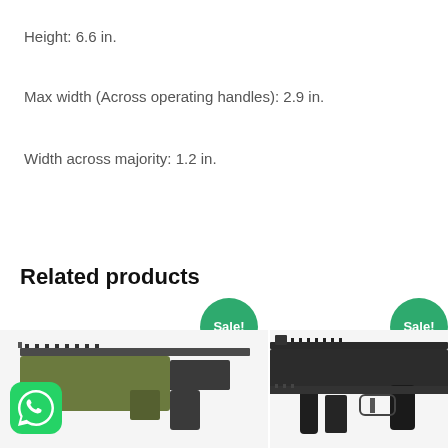Height: 6.6 in.
Max width (Across operating handles): 2.9 in.
Width across majority: 1.2 in.
Related products
[Figure (photo): Firearm product image on the left with Sale! badge and WhatsApp icon overlay]
[Figure (photo): Firearm product image on the right with Sale! badge]